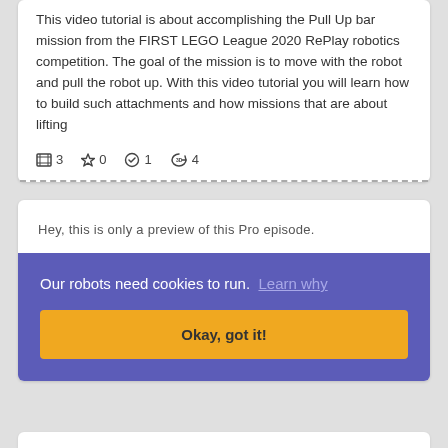This video tutorial is about accomplishing the Pull Up bar mission from the FIRST LEGO League 2020 RePlay robotics competition. The goal of the mission is to move with the robot and pull the robot up. With this video tutorial you will learn how to build such attachments and how missions that are about lifting
3  0  1  4
Hey, this is only a preview of this Pro episode.
Our robots need cookies to run.  Learn why
Okay, got it!